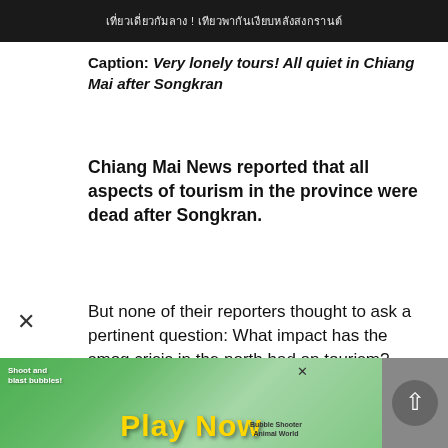[Figure (screenshot): Dark background image with Thai text overlay at top]
Caption: Very lonely tours! All quiet in Chiang Mai after Songkran
Chiang Mai News reported that all aspects of tourism in the province were dead after Songkran.
But none of their reporters thought to ask a pertinent question: What impact has the smog crisis in the north had on tourism?
They quoted one guide they called "Pramote" as saying: "I just can't understand it. There are
[Figure (screenshot): Advertisement banner for Bubble Shooter Animal World game - Play Now]